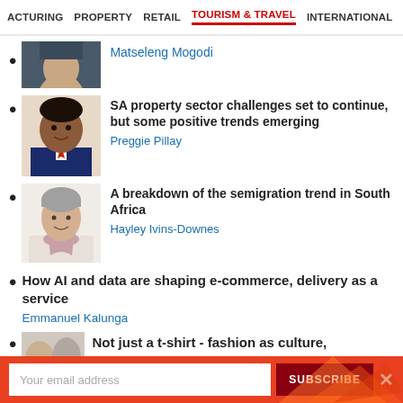ACTURING  PROPERTY  RETAIL  TOURISM & TRAVEL  INTERNATIONAL
Matseleng Mogodi
SA property sector challenges set to continue, but some positive trends emerging
Preggie Pillay
A breakdown of the semigration trend in South Africa
Hayley Ivins-Downes
How AI and data are shaping e-commerce, delivery as a service
Emmanuel Kalunga
Not just a t-shirt - fashion as culture,